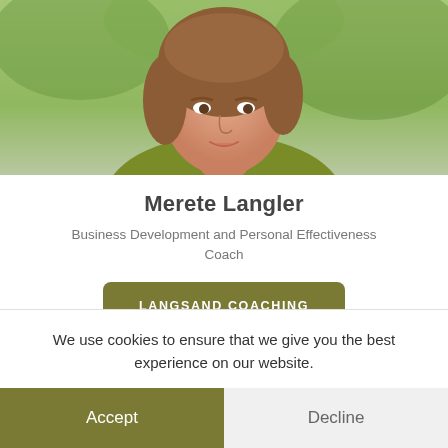[Figure (photo): Portrait photo of a woman in a green cardigan, brown hair, cropped to show head and shoulders against a blurred outdoor background]
Merete Langler
Business Development and Personal Effectiveness Coach
LANGSAND COACHING
Discretion and...Good Coaching...
We use cookies to ensure that we give you the best experience on our website.
Accept
Decline